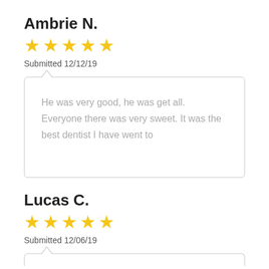Ambrie N.
[Figure (other): 5 yellow stars rating]
Submitted 12/12/19
He was very good, he was get all. Everyone there was very sweet. It was the best dentist I have went to
Lucas C.
[Figure (other): 5 yellow stars rating]
Submitted 12/06/19